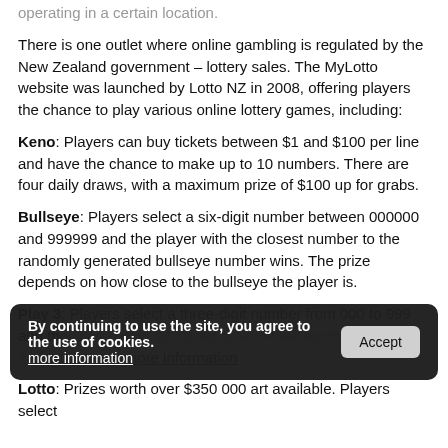operating in a certain location.
There is one outlet where online gambling is regulated by the New Zealand government – lottery sales. The MyLotto website was launched by Lotto NZ in 2008, offering players the chance to play various online lottery games, including:
Keno: Players can buy tickets between $1 and $100 per line and have the chance to make up to 10 numbers. There are four daily draws, with a maximum prize of $100 up for grabs.
Bullseye: Players select a six-digit number between 000000 and 999999 and the player with the closest number to the randomly generated bullseye number wins. The prize depends on how close to the bullseye the player is.
Play 3: Players select a three-digit number from 000 to 999 and they can bet on $0.50 per draw on the numbers they match and more information
Lotto: Prizes worth over $350 000 art available. Players select